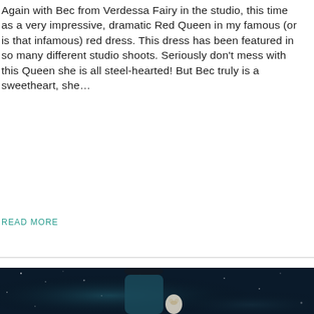Again with Bec from Verdessa Fairy in the studio, this time as a very impressive, dramatic Red Queen in my famous (or is that infamous) red dress. This dress has been featured in so many different studio shoots. Seriously don't mess with this Queen she is all steel-hearted! But Bec truly is a sweetheart, she...
READ MORE
[Figure (photo): A woman wearing a teal/blue outfit and an elaborate dark headdress with antlers and blue flowers, holding or looking at a white barn owl, set against a dark starry bokeh background suggesting a magical night scene.]